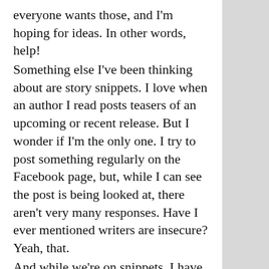everyone wants those, and I'm hoping for ideas.  In other words, help!
Something else I've been thinking about are story snippets.  I love when an author I read posts teasers of an upcoming or recent release.  But I wonder if I'm the only one.  I try to post something regularly on the Facebook page, but, while I can see the post is being looked at, there aren't very many responses.  Have I ever mentioned writers are insecure?  Yeah, that.
And while we're on snippets, I have a little one for here today, too, from Hunting Medusa.
——
He pondered for several minutes as